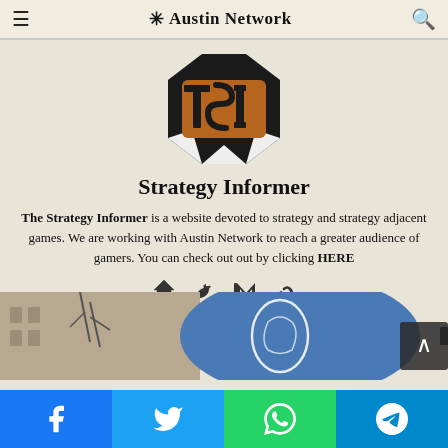Austin Network
[Figure (logo): TSI (The Strategy Informer) logo — black octagon/diamond shape with orange TSI lettering inside]
Strategy Informer
The Strategy Informer is a website devoted to strategy and strategy adjacent games. We are working with Austin Network to reach a greater audience of gamers. You can check out out by clicking HERE
[Figure (illustration): Social media icon links: home, twitter, medium, link/steam icons]
[Figure (photo): Partial photo showing a blue surface with Austin Network logo and trees/building in background]
Facebook | Twitter | WhatsApp | Telegram share buttons